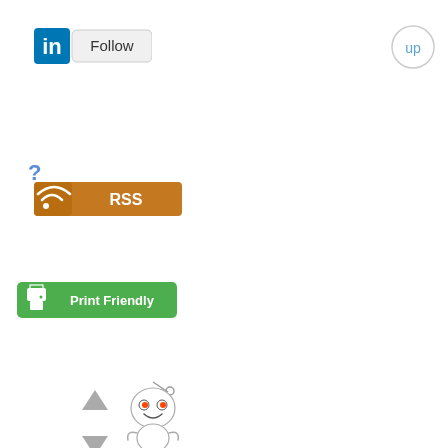[Figure (logo): LinkedIn Follow button with blue 'in' logo on left and 'Follow' text in gray rounded rectangle]
[Figure (logo): Circular 'up' button in light gray outline with blue text 'up']
?
[Figure (logo): RSS feed button with orange background, RSS icon on left, and white 'RSS' text]
[Figure (other): Up and down gray arrow icons for reordering]
[Figure (illustration): Reddit alien mascot (Snoo) illustration in pixel/cartoon style with red eyes]
[Figure (logo): Print Friendly button - green rounded rectangle with printer icon and white 'Print Friendly' text]